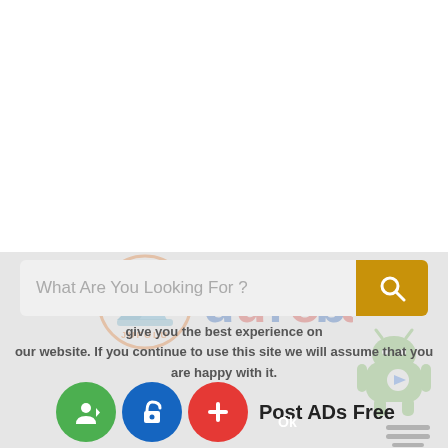[Figure (logo): Android robot mascot icon in green with Google Play triangle badge on chest]
[Figure (logo): Jufolu logo: orange circle with mountain and sun illustration, text 'JUFOLU' below, beside stylized 'dufobu' wordmark in blue and red]
[Figure (other): Hamburger menu icon (three horizontal lines)]
What Are You Looking For ?
give you the best experience on our website. If you continue to use this site we will assume that you are happy with it.
Post ADs Free